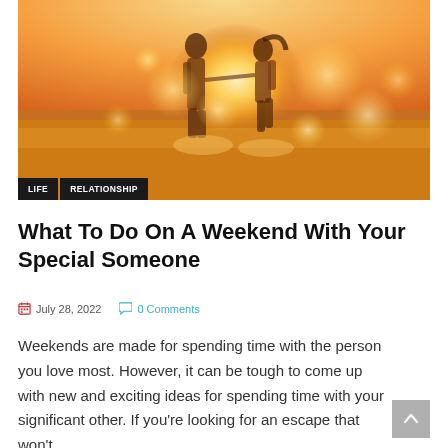[Figure (photo): Couple running on a beach at sunset, splashing through water. The image has warm golden tones with bokeh light effects. Two people are silhouetted/backlit running hand in hand toward the water.]
LIFE   RELATIONSHIP
What To Do On A Weekend With Your Special Someone
July 28, 2022   0 Comments
Weekends are made for spending time with the person you love most. However, it can be tough to come up with new and exciting ideas for spending time with your significant other. If you're looking for an escape that won't